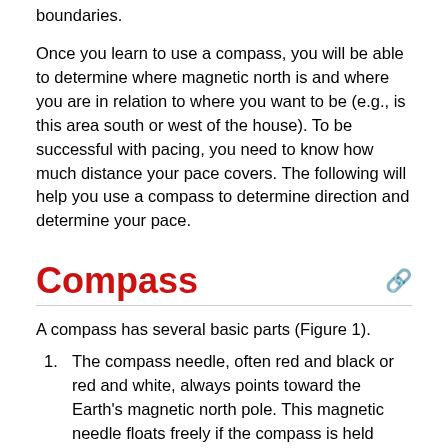as you travel across country or traversing property boundaries.
Once you learn to use a compass, you will be able to determine where magnetic north is and where you are in relation to where you want to be (e.g., is this area south or west of the house). To be successful with pacing, you need to know how much distance your pace covers. The following will help you use a compass to determine direction and determine your pace.
Compass
A compass has several basic parts (Figure 1).
The compass needle, often red and black or red and white, always points toward the Earth’s magnetic north pole. This magnetic needle floats freely if the compass is held level (parallel to the ground).